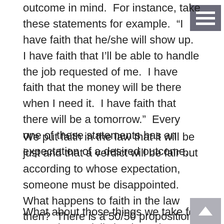outcome in mind.  For instance, take these statements for example.  “I have faith that he/she will show up.  I have faith that I’ll be able to handle the job requested of me.  I have faith that the money will be there when I need it.  I have faith that there will be a tomorrow.”  Every one of these statements has an expectation of a desired outcome.
We put faith in the law that it will be just and that a verdict will be fair but according to whose expectation, someone must be disappointed.  What happens to faith in the law then?  There is a 50/50 proposition it can go one way or another.  If the verdict doesn’t go in one’s favor is it because they didn’t have enough faith?
What about those things we take for granted on a daily basis.  When we put our lives in the hands of another